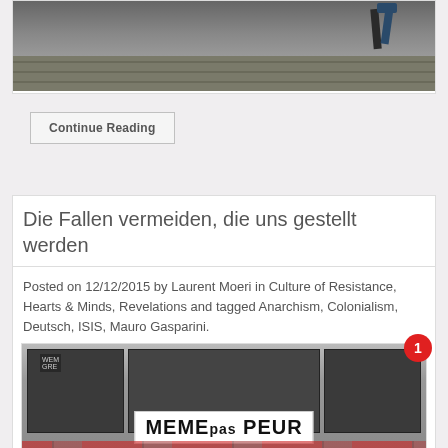[Figure (photo): A person walking on cobblestone street near a wall]
Continue Reading
Die Fallen vermeiden, die uns gestellt werden
Posted on 12/12/2015 by Laurent Moeri in Culture of Resistance, Hearts & Minds, Revelations and tagged Anarchism, Colonialism, Deutsch, ISIS, Mauro Gasparini.
[Figure (photo): Protest scene with banner reading MEME PAS PEUR, dark relief panels in background, graffiti at bottom]